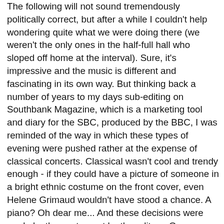The following will not sound tremendously politically correct, but after a while I couldn't help wondering quite what we were doing there (we weren't the only ones in the half-full hall who sloped off home at the interval). Sure, it's impressive and the music is different and fascinating in its own way. But thinking back a number of years to my days sub-editing on Southbank Magazine, which is a marketing tool and diary for the SBC, produced by the BBC, I was reminded of the way in which these types of evening were pushed rather at the expense of classical concerts. Classical wasn't cool and trendy enough - if they could have a picture of someone in a bright ethnic costume on the front cover, even Helene Grimaud wouldn't have stood a chance. A piano? Oh dear me... And these decisions were made by the centre, not by the editors. One reason I gently divorced myself from Southbank was the fact that the line we had to take - not so much politically correct as culturally correct - got up my nose to the point of inducing real depression. Now, I LIKE much of this stuff! I'm all for it! I loved talking to the world-musicy people I had to interview while I was there. I think the rise of world music is one of the most exciting cultural developments of the last decade or two - and it beats